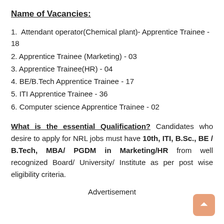Name of Vacancies:
1.  Attendant operator(Chemical plant)- Apprentice Trainee - 18
2. Apprentice Trainee (Marketing) - 03
3. Apprentice Trainee(HR) - 04
4. BE/B.Tech Apprentice Trainee - 17
5. ITI Apprentice Trainee - 36
6. Computer science Apprentice Trainee - 02
What is the essential Qualification? Candidates who desire to apply for NRL jobs must have 10th, ITI, B.Sc., BE / B.Tech, MBA/ PGDM in Marketing/HR from well recognized Board/ University/ Institute as per post wise eligibility criteria.
Advertisement